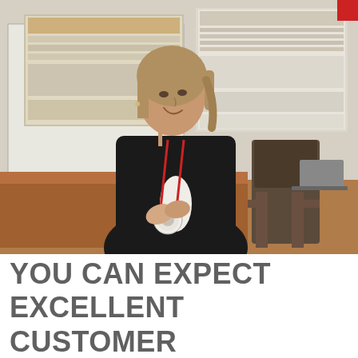[Figure (photo): A woman wearing a black jacket and a red lanyard with a circular medal/badge is standing and smiling in a classroom or lecture hall. Behind her are two projection screens showing computer interfaces. There is a chair visible to her right. The setting appears to be an academic environment.]
YOU CAN EXPECT EXCELLENT CUSTOMER SERVICE, AND A